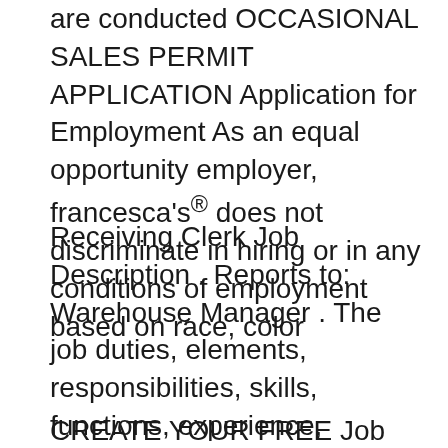are conducted OCCASIONAL SALES PERMIT APPLICATION Application for Employment As an equal opportunity employer, francesca's® does not discriminate in hiring or in any conditions of employment based on race, color
Receiving Clerk Job Description . Reports to: Warehouse Manager . The job duties, elements, responsibilities, skills, functions, experience, educational factors and If this application leads to employment, I understand that false or misleading information in my application or interview GarageEmployment Application Customized
CREATE YOUR FREE Job description. Create my